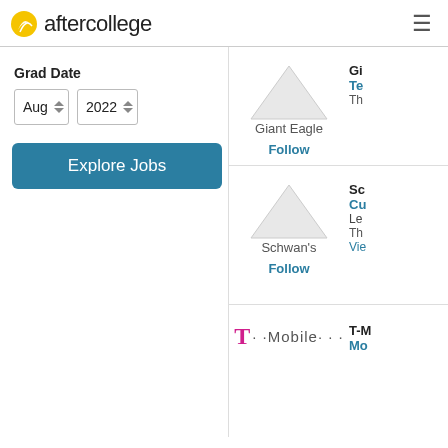aftercollege
Grad Date
Aug 2022
Explore Jobs
[Figure (logo): Giant Eagle company logo placeholder (triangle shape) with company name and Follow link]
Giant Eagle
Follow
Gi
Te
Th
[Figure (logo): Schwan's company logo placeholder (triangle shape) with company name and Follow link]
Schwan's
Follow
Sc
Cu
Le
Th
Vie
[Figure (logo): T-Mobile company logo with magenta T and dotted text]
T-M
Mo